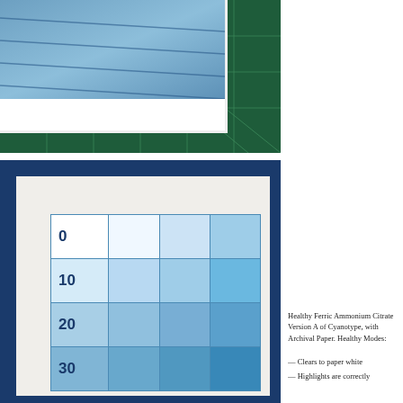[Figure (photo): Top photo showing a cyanotype print of pool lane lines on white paper, placed on a green cutting mat]
[Figure (photo): Bottom image showing a cyanotype step-wedge test chart on white paper against dark navy blue background. The chart shows a 4-column grid with rows labeled 0, 10, 20, 30, with increasing cyan density across rows and columns.]
Healthy Ferric Ammonium Citrate Version A of Cyanotype, with Archival Paper. Healthy Modes:
— Clears to paper white
— Highlights are correctly